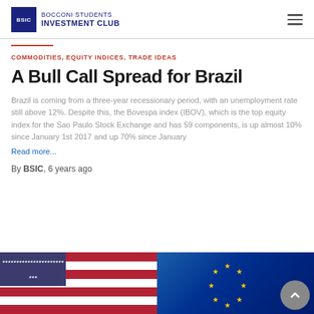BOCCONI STUDENTS INVESTMENT CLUB
COMMODITIES, EQUITY INDICES, TRADE IDEAS
A Bull Call Spread for Brazil
Brazil is coming from a three-year recessionary period, with an unemployment rate still above 12%. Despite this, the Bovespa index (IBOV), which is the top equity index for the Sao Paulo Stock Exchange and has 59 components, is up almost 10% since January 1st 2017 and up 70% since January  Read more...
By BSIC, 6 years ago
[Figure (photo): Two flags side by side: US flag on the left, EU flag on the right with yellow stars on blue background]